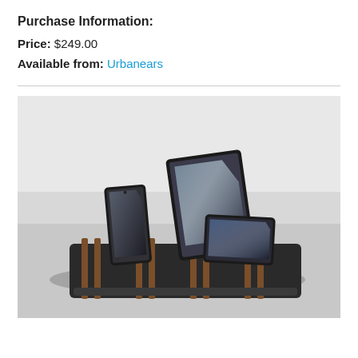Purchase Information:
Price: $249.00
Available from: Urbanears
[Figure (photo): A multi-device charging station/dock made of dark material with wooden slat dividers, holding two smartphones and a tablet, sitting on a white surface.]